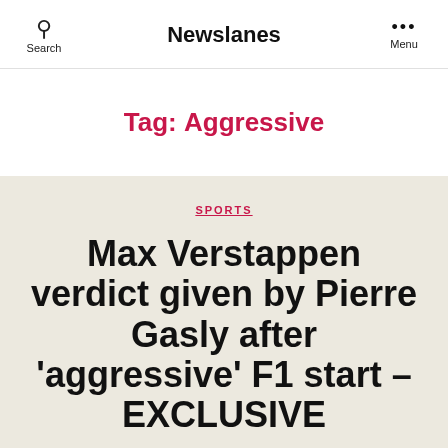Search  Newslanes  Menu
Tag: Aggressive
SPORTS
Max Verstappen verdict given by Pierre Gasly after 'aggressive' F1 start – EXCLUSIVE